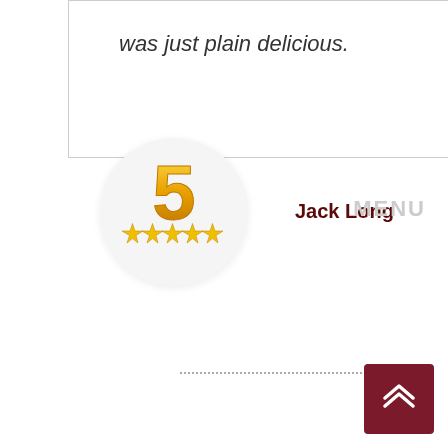was just plain delicious.
[Figure (other): Star rating badge showing 5 stars with golden number 5 and five gold stars below it]
Jack Long
MENU
[Figure (other): Dotted horizontal divider line]
[Figure (other): Dark red back-to-top button with double chevron up arrow]